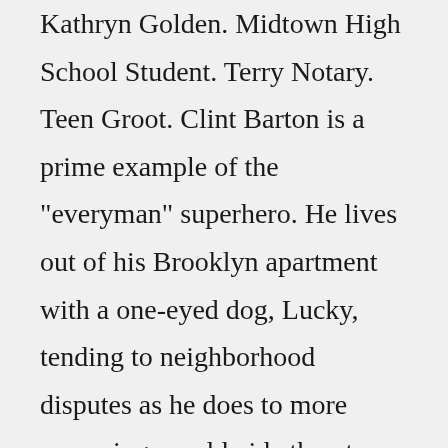Kathryn Golden. Midtown High School Student. Terry Notary. Teen Groot. Clint Barton is a prime example of the "everyman" superhero. He lives out of his Brooklyn apartment with a one-eyed dog, Lucky, tending to neighborhood disputes as he does to more menacing, worldwide threats. He doesn't have superpowers, but kicks ass alongside those who do, slinging arrows along the way. Dans la continuité des films, Hawkeye a été produit par